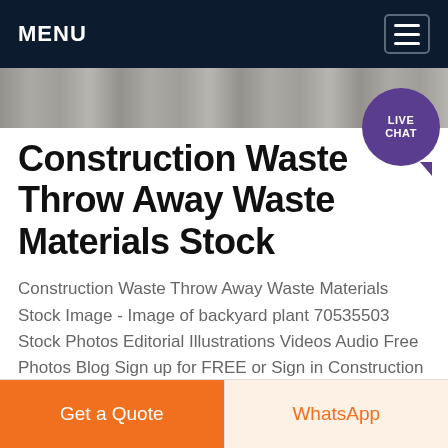MENU
[Figure (photo): Partial image of construction waste / backyard plant scene, used as a banner strip.]
Construction Waste Throw Away Waste Materials Stock
Construction Waste Throw Away Waste Materials Stock Image - Image of backyard plant 70535503 Stock Photos Editorial Illustrations Videos Audio Free Photos Blog Sign up for FREE or Sign in Construction waste Throw away waste materials Royalty-Free Stock Photo
Get price
Get a Quote
WhatsApp